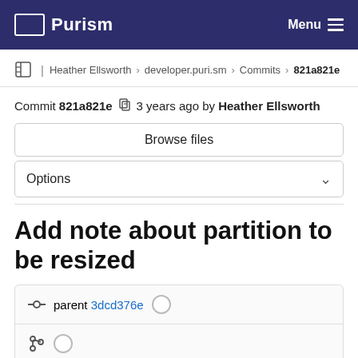Purism | Menu
Heather Ellsworth > developer.puri.sm > Commits > 821a821e
Commit 821a821e  3 years ago by Heather Ellsworth
Browse files
Options
Add note about partition to be resized
parent 3dcd376e